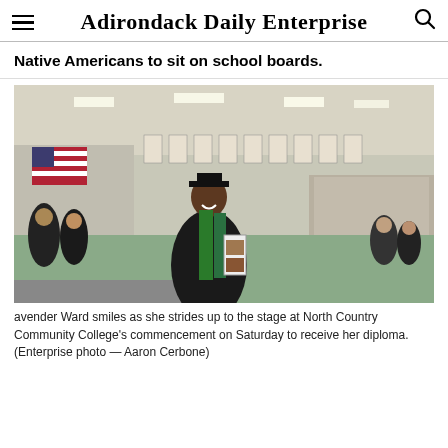Adirondack Daily Enterprise
Native Americans to sit on school boards.
[Figure (photo): A graduate in black cap and gown wearing a green sash with photos on it smiles as she walks toward the stage at a college commencement ceremony held in a gymnasium. An American flag is visible in the background along with bleachers filled with spectators.]
avender Ward smiles as she strides up to the stage at North Country Community College's commencement on Saturday to receive her diploma. (Enterprise photo — Aaron Cerbone)